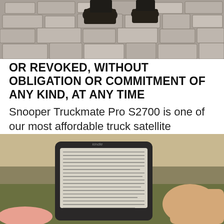[Figure (photo): Partial photo of a person crouching on a stone/cobblestone surface, wearing dark boots and dark clothing, visible from knees down.]
OR REVOKED, WITHOUT OBLIGATION OR COMMITMENT OF ANY KIND, AT ANY TIME Snooper Truckmate Pro S2700 is one of our most affordable truck satellite navigation systems.
[Figure (photo): A hand holding a Kindle e-reader device displaying a page of text, with a blurred outdoor background of grass and dirt.]